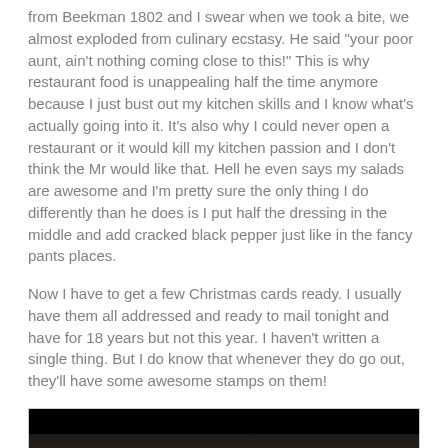from Beekman 1802 and I swear when we took a bite, we almost exploded from culinary ecstasy.  He said "your poor aunt, ain't nothing coming close to this!"  This is why restaurant food is unappealing half the time anymore because I just bust out my kitchen skills and I know what's actually going into it.  It's also why I could never open a restaurant or it would kill my kitchen passion and I don't think the Mr would like that.  Hell he even says my salads are awesome and I'm pretty sure the only thing I do differently than he does is I put half the dressing in the middle and add cracked black pepper just like in the fancy pants places.
Now I have to get a few Christmas cards ready.  I usually have them all addressed and ready to mail tonight and have for 18 years but not this year.  I haven't written a single thing.  But I do know that whenever they do go out, they'll have some awesome stamps on them!
[Figure (photo): A photograph showing Christmas stamps, appearing to be holiday animal stamps, placed on what looks like a dark wooden surface or envelope.]